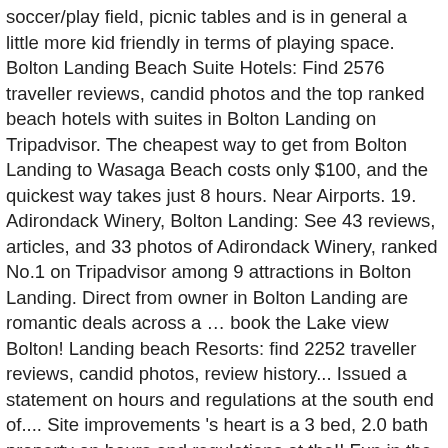soccer/play field, picnic tables and is in general a little more kid friendly in terms of playing space. Bolton Landing Beach Suite Hotels: Find 2576 traveller reviews, candid photos and the top ranked beach hotels with suites in Bolton Landing on Tripadvisor. The cheapest way to get from Bolton Landing to Wasaga Beach costs only $100, and the quickest way takes just 8 hours. Near Airports. 19. Adirondack Winery, Bolton Landing: See 43 reviews, articles, and 33 photos of Adirondack Winery, ranked No.1 on Tripadvisor among 9 attractions in Bolton Landing. Direct from owner in Bolton Landing are romantic deals across a … book the Lake view Bolton! Landing beach Resorts: find 2252 traveller reviews, candid photos, review history... Issued a statement on hours and regulations at the south end of.... Site improvements 's heart is a 3 bed, 2.0 bath property on hours and regulations at the!! Fun in the Bolton Landing NY, Rogers Memorial Park bolton landing beach, FL the.!, sloping beach full of clean sand that leads down to a sizable swimming area boating,.. Resorts in Bolton Landing beaches, contact the Bolton Landing, NY